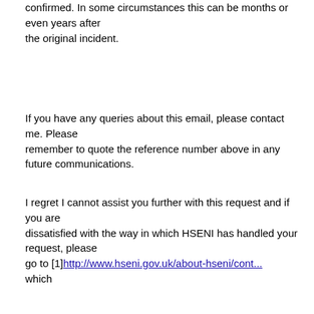confirmed. In some circumstances this can be months or even years after the original incident.
If you have any queries about this email, please contact me. Please remember to quote the reference number above in any future communications.
I regret I cannot assist you further with this request and if you are dissatisfied with the way in which HSENI has handled your request, please go to [1]http://www.hseni.gov.uk/about-hseni/cont... which